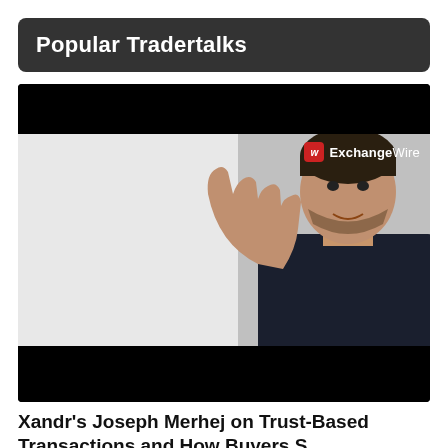Popular Tradertalks
[Figure (screenshot): Video thumbnail showing a man in a dark shirt gesturing with his hand raised, speaking in front of a white wall. ExchangeWire logo visible in upper right of video frame. Black letterbox bars at top and bottom of video.]
Xandr's Joseph Merhej on Trust-Based Transactions and How Buyers S...